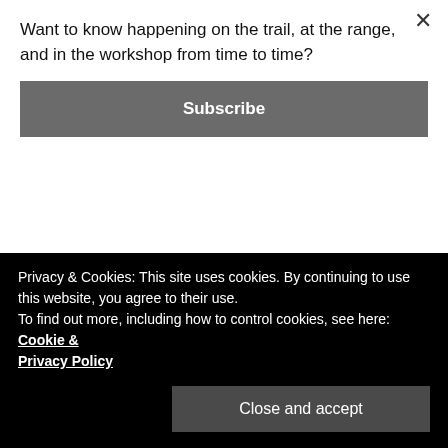Want to know happening on the trail, at the range, and in the workshop from time to time?
Subscribe
check after performing firearm maintenance requires a trigger press. In this scenario, it's not a bad idea to point the firearm into a bullet stop (like a bucket filled with sand or a large stack of books). There are several people that will say this isn't necessary since we have confirmed the
Privacy & Cookies: This site uses cookies. By continuing to use this website, you agree to their use.
To find out more, including how to control cookies, see here: Cookie & Privacy Policy
Close and accept
which will confirm its functional state. Whether